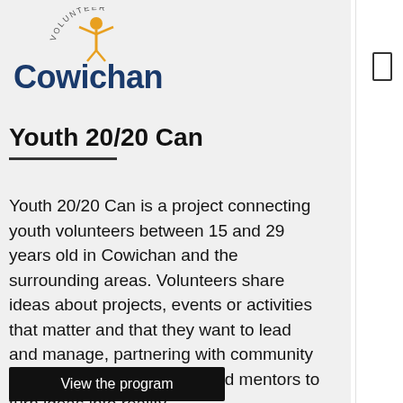[Figure (logo): Volunteer Cowichan logo with blue stylized text 'Cowichan' and gold figure with arms raised, 'VOLUNTEER' in arc above]
Youth 20/20 Can
Youth 20/20 Can is a project connecting youth volunteers between 15 and 29 years old in Cowichan and the surrounding areas. Volunteers share ideas about projects, events or activities that matter and that they want to lead and manage, partnering with community groups, local businesses, and mentors to turn ideas into reality.
View the program